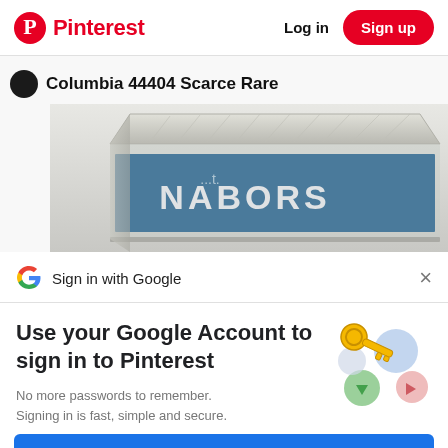Pinterest  Log in  Sign up
Columbia 44404 Scarce Rare
[Figure (photo): Partial view of a cassette or cartridge in a clear plastic case with a blue label reading 'NABORS']
Sign in with Google
Use your Google Account to sign in to Pinterest
No more passwords to remember. Signing in is fast, simple and secure.
[Figure (illustration): Google key sign-in illustration with a golden key and colorful circles]
Continue